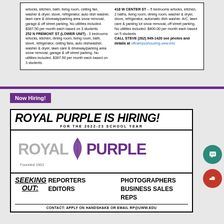w/locks, kitchen, bath, living room, ceiling fan, washer & dryer, stove, refrigerator, auto dish washer, lawn care & driveway/parking area snow removal, garage & off street parking. No utilities included. $387.50 per month each based on 3 students
252 N FREMONT ST (LOWER UNIT) - 3 bedrooms w/locks, kitchen, dining room, living room, bath, stove, refrigerator, ceiling fans, auto dishwasher, washer & dryer, lawn care & driveway/parking area snow removal, garage & off street parking. No utilities included. $387.50 per month each based on 3 students
418 W CENTER ST – 5 bedrooms w/locks, kitchen, 2 baths, living room, dining room, washer & dryer, stove, refrigerator, automatic dish washer, A/C, lawn care & parking lot snow removal, off street parking. No utilities included. $400.00 per month each based on 5 students
CALL STEVE (262) 949-1420 see photos and details at offcampushousing.uww.edu
Now Hiring!
[Figure (infographic): Royal Purple newspaper hiring advertisement. Top strip: 'ROYAL PURPLE IS HIRING!' in large bold italic, subtext 'FOR THE 2022-23 SCHOOL YEAR'. Middle: Royal Purple logo with gray 'ROYAL' text, feather graphic, purple 'PURPLE' text, and 'Founded 1901'. Bottom: 'SEEKING OUT:' with positions listed: REPORTERS, PHOTOGRAPHERS, EDITORS, BUSINESS SALES REPS. Contact line: CONTACT: APPLY ON HANDSHAKE OR EMAIL RP@UWW.EDU]